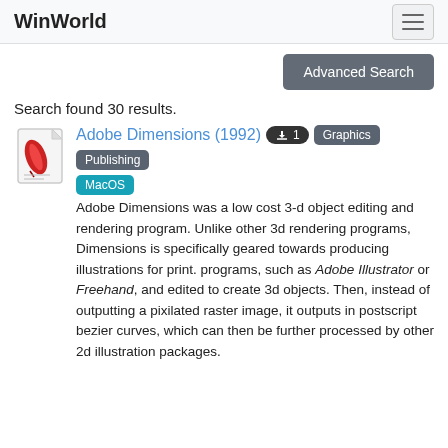WinWorld
Advanced Search
Search found 30 results.
[Figure (illustration): Small red feathered pen/quill on a document icon — software catalog icon for Adobe Dimensions]
Adobe Dimensions (1992)  1  Graphics  Publishing  MacOS
Adobe Dimensions was a low cost 3-d object editing and rendering program. Unlike other 3d rendering programs, Dimensions is specifically geared towards producing illustrations for print. programs, such as Adobe Illustrator or Freehand, and edited to create 3d objects. Then, instead of outputting a pixilated raster image, it outputs in postscript bezier curves, which can then be further processed by other 2d illustration packages.